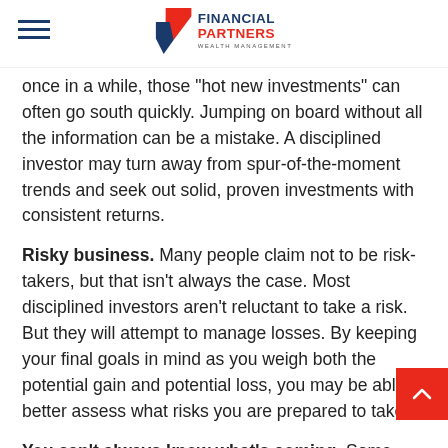Financial Partners Wealth Management
once in a while, those "hot new investments" can often go south quickly. Jumping on board without all the information can be a mistake. A disciplined investor may turn away from spur-of-the-moment trends and seek out solid, proven investments with consistent returns.
Risky business. Many people claim not to be risk-takers, but that isn't always the case. Most disciplined investors aren't reluctant to take a risk. But they will attempt to manage losses. By keeping your final goals in mind as you weigh both the potential gain and potential loss, you may be able to better assess what risks you are prepared to take.
You can't always know what's coming. Some investors attempt to predict the future based on the past. As we know, just because a stock rose yesterday, that doesn't mean it will rise again today or for some years to come.